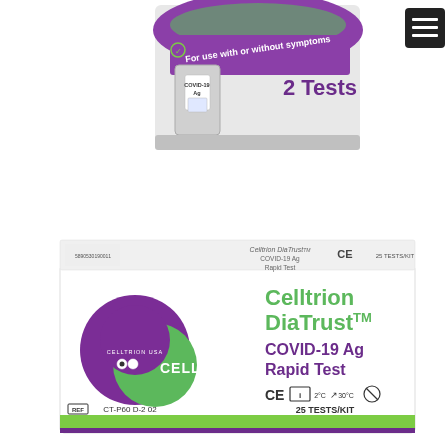[Figure (photo): Top portion: A COVID-19 Ag rapid test kit box (gray and purple) labeled '2 Tests' with text 'For use with or without symptoms'. Bottom portion: A Celltrion DiaTrust COVID-19 Ag Rapid Test kit box showing the front face with the Celltrion logo (purple and green circles), product name in green and purple text, CE mark, REF CT-P60 D-2 02, and 25 TESTS/KIT. Also shows top of the same box with smaller text and CE mark.]